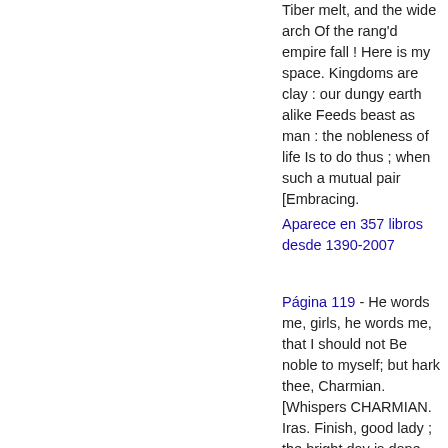Tiber melt, and the wide arch Of the rang'd empire fall ! Here is my space. Kingdoms are clay : our dungy earth alike Feeds beast as man : the nobleness of life Is to do thus ; when such a mutual pair [Embracing.
Aparece en 357 libros desde 1390-2007
Página 119 - He words me, girls, he words me, that I should not Be noble to myself; but hark thee, Charmian. [Whispers CHARMIAN. Iras. Finish, good lady ; the bright day is done, And we are for the dark.
Aparece en 343 libros